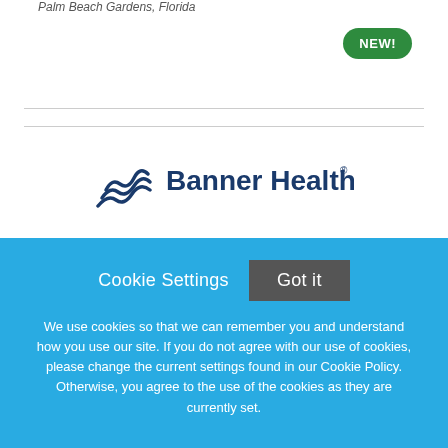Palm Beach Gardens, Florida
[Figure (other): Green oval badge with text NEW!]
[Figure (logo): Banner Health logo with wave icon and text Banner Health]
Special Procedures Technologist Cath Lab Per Diem
Banner Health
Sun City West, Arizona
Cookie Settings   Got it

We use cookies so that we can remember you and understand how you use our site. If you do not agree with our use of cookies, please change the current settings found in our Cookie Policy. Otherwise, you agree to the use of the cookies as they are currently set.